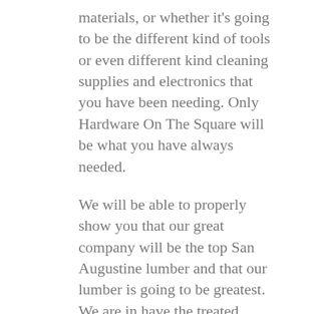materials, or whether it's going to be the different kind of tools or even different kind cleaning supplies and electronics that you have been needing. Only Hardware On The Square will be what you have always needed.
We will be able to properly show you that our great company will be the top San Augustine lumber and that our lumber is going to be greatest. We are in have the treated lumber, untreated lumber, the big boards or small boards. We will be able to truly make sure that everything that we have been able provide for you is going to be absolutely remarkable news today. You will be able to always make sure that this is going to be great news for many different reasons. You will be able to really make sure this is going to be fantastic, and you will always be able to make sure that we are